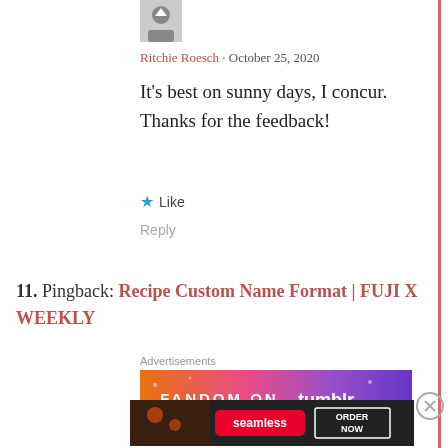[Figure (photo): User avatar image, small circular/square profile photo with upward arrow icon]
Ritchie Roesch · October 25, 2020
It's best on sunny days, I concur. Thanks for the feedback!
★ Like
Reply
11. Pingback: Recipe Custom Name Format | FUJI X WEEKLY
Advertisements
[Figure (other): Fandom on Tumblr advertisement banner with orange-to-purple gradient background and text FANDOM ON tumblr]
Advertisements
[Figure (other): Seamless food delivery advertisement showing pizza with Seamless logo and ORDER NOW button on dark background]